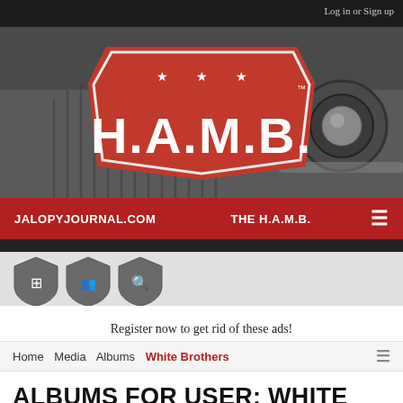Log in or Sign up
[Figure (logo): H.A.M.B. logo on a vintage car background — red shield-shaped badge with three stars and H.A.M.B. in white lettering, TM mark, on a grey vintage car background]
JALOPYJOURNAL.COM   THE H.A.M.B.   ≡
[Figure (other): Three grey shield-shaped navigation icons with forum, members, and search symbols]
Register now to get rid of these ads!
Home   Media   Albums   White Brothers
ALBUMS FOR USER: WHITE BROTHERS